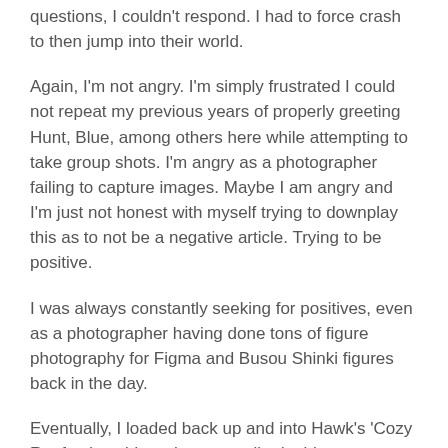questions, I couldn't respond. I had to force crash to then jump into their world.
Again, I'm not angry. I'm simply frustrated I could not repeat my previous years of properly greeting Hunt, Blue, among others here while attempting to take group shots. I'm angry as a photographer failing to capture images. Maybe I am angry and I'm just not honest with myself trying to downplay this as to not be a negative article. Trying to be positive.
I was always constantly seeking for positives, even as a photographer having done tons of figure photography for Figma and Busou Shinki figures back in the day.
Eventually, I loaded back up and into Hawk's 'Cozy Rooftop' world to where we talked a bit,